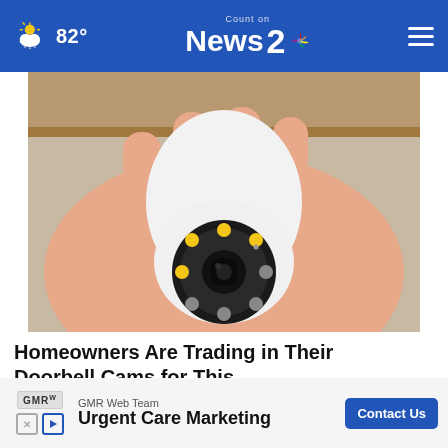82° | Count on News 2 NBC
[Figure (photo): A hand holding a small white wireless security camera shaped like a lightbulb, with a circular lens surrounded by IR LEDs]
Homeowners Are Trading in Their Doorbell Cams for This.
Keilini.com
[Figure (screenshot): Advertisement banner: GMR Web Team – Urgent Care Marketing with Contact Us button]